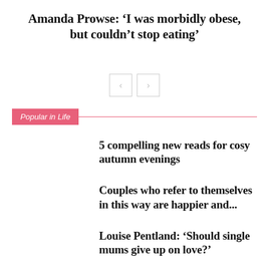Amanda Prowse: ‘I was morbidly obese, but couldn’t stop eating’
[Figure (other): Navigation buttons: left arrow and right arrow in bordered square buttons]
Popular in Life
5 compelling new reads for cosy autumn evenings
Couples who refer to themselves in this way are happier and...
Louise Pentland: ‘Should single mums give up on love?’